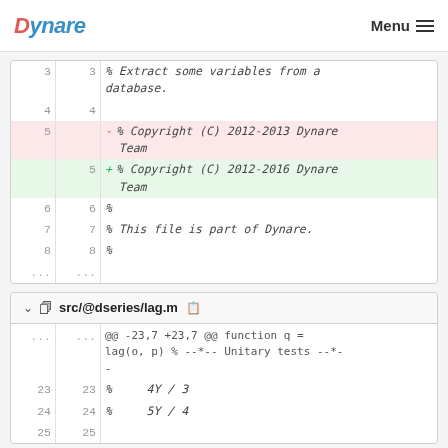Dynare   Menu
| old | new | code |
| --- | --- | --- |
| 3 | 3 | % Extract some variables from a database. |
| 4 | 4 |  |
| 5 |  | - % Copyright (C) 2012-2013 Dynare Team |
|  | 5 | + % Copyright (C) 2012-2016 Dynare Team |
| 6 | 6 | % |
| 7 | 7 | % This file is part of Dynare. |
| 8 | 8 | % |
| ... | ... |  |
src/@dseries/lag.m
| old | new | code |
| --- | --- | --- |
| ... | ... | @@ -23,7 +23,7 @@ function q = lag(o, p) % --*-- Unitary tests --*-- |
| 23 | 23 | %     4Y / 3 |
| 24 | 24 | %     5Y / 4 |
| 25 | 25 |  |